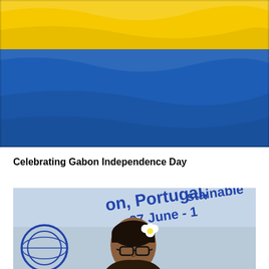[Figure (photo): Gabon national flag with green, yellow, and blue horizontal stripes, waving]
Celebrating Gabon Independence Day
[Figure (photo): A person wearing glasses and a white flower in their hair speaking at a podium, with a banner in the background reading 'Portugal, 27 June - 1' and 'stainable' (cropped)]